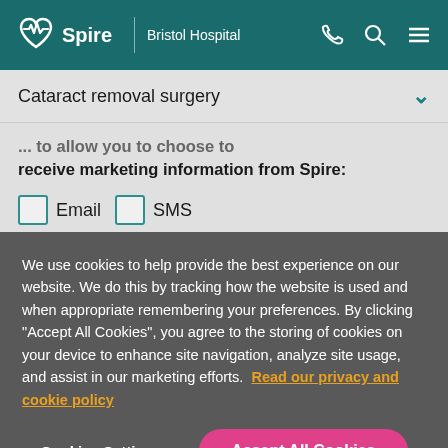Spire | Bristol Hospital
Cataract removal surgery
...to allow you to choose to receive marketing information from Spire:
Email  SMS
We may contact you by email, SMS or phone about
We use cookies to help provide the best experience on our website. We do this by tracking how the website is used and when appropriate remembering your preferences. By clicking "Accept All Cookies", you agree to the storing of cookies on your device to enhance site navigation, analyze site usage, and assist in our marketing efforts. Read our privacy and cookie policy
Cookies Settings
Accept All Cookies